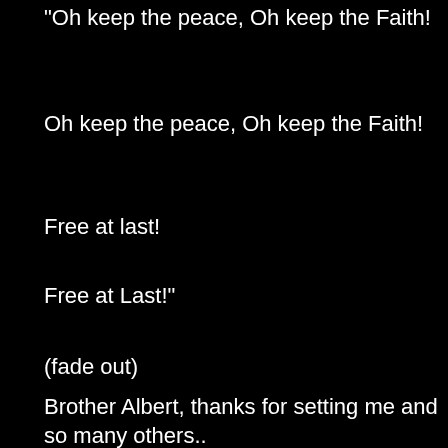“Oh keep the peace, Oh keep the Faith!
Oh keep the peace, Oh keep the Faith!
Free at last!
Free at Last!”
(fade out)
Brother Albert, thanks for setting me and so many others..